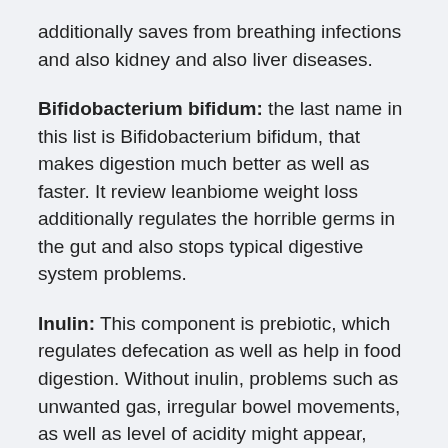additionally saves from breathing infections and also kidney and also liver diseases.
Bifidobacterium bifidum: the last name in this list is Bifidobacterium bifidum, that makes digestion much better as well as faster. It review leanbiome weight loss additionally regulates the horrible germs in the gut and also stops typical digestive system problems.
Inulin: This component is prebiotic, which regulates defecation as well as help in food digestion. Without inulin, problems such as unwanted gas, irregular bowel movements, as well as level of acidity might appear, making digestion uneasy. Along with that, inulin assists in the